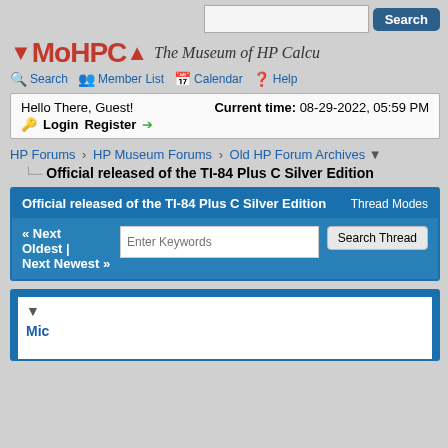Search
MoHPCA — The Museum of HP Calcu...
Search | Member List | Calendar | Help
Hello There, Guest! Current time: 08-29-2022, 05:59 PM
Login Register
HP Forums › HP Museum Forums › Old HP Forum Archives
Official released of the TI-84 Plus C Silver Edition
Official released of the TI-84 Plus C Silver Edition  Thread Modes
« Next Oldest | Next Newest »   Enter Keywords  Search Thread
▼
Mic